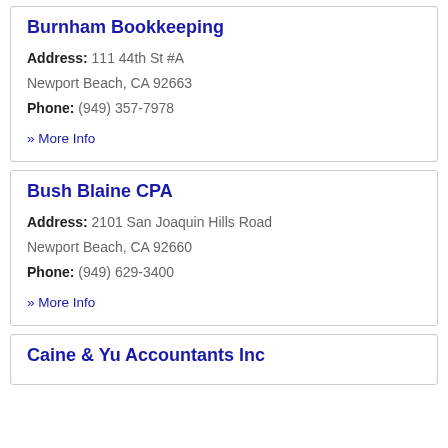Burnham Bookkeeping
Address: 111 44th St #A
Newport Beach, CA 92663
Phone: (949) 357-7978
» More Info
Bush Blaine CPA
Address: 2101 San Joaquin Hills Road
Newport Beach, CA 92660
Phone: (949) 629-3400
» More Info
Caine & Yu Accountants Inc